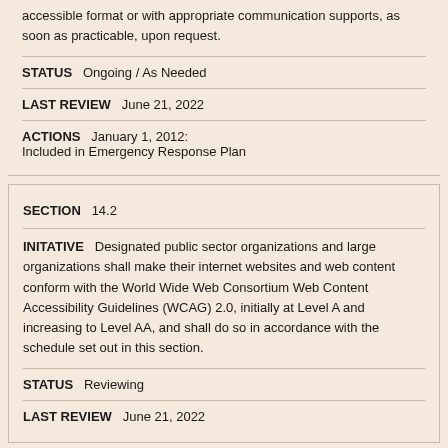accessible format or with appropriate communication supports, as soon as practicable, upon request.
STATUS   Ongoing / As Needed
LAST REVIEW   June 21, 2022
ACTIONS   January 1, 2012:
Included in Emergency Response Plan
SECTION   14.2
INITATIVE   Designated public sector organizations and large organizations shall make their internet websites and web content conform with the World Wide Web Consortium Web Content Accessibility Guidelines (WCAG) 2.0, initially at Level A and increasing to Level AA, and shall do so in accordance with the schedule set out in this section.
STATUS   Reviewing
LAST REVIEW   June 21, 2022